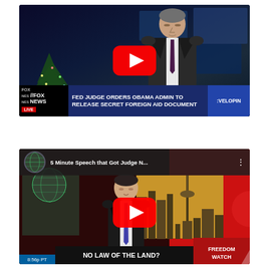[Figure (screenshot): YouTube thumbnail of Fox News segment showing a man in a suit. Lower third reads: 'FED JUDGE ORDERS OBAMA ADMIN TO RELEASE SECRET FOREIGN AID DOCUMENT'. Fox News Live logo visible. 'DEVELOPING' text on right.]
[Figure (screenshot): YouTube video thumbnail titled '5 Minute Speech that Got Judge N...' showing a man in a suit standing in front of a city skyline background. Lower third reads 'NO LAW OF THE LAND?' with 'FREEDOM WATCH' branding. Time stamp 8:56p PT visible. 'We The People' logo on left.]